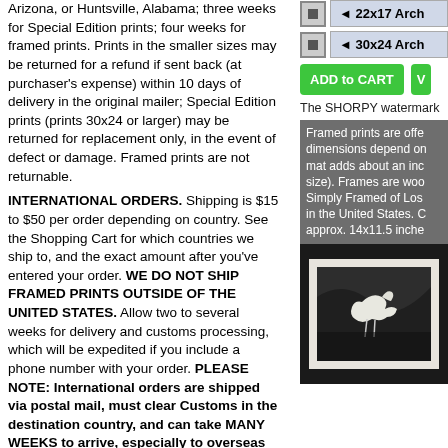Arizona, or Huntsville, Alabama; three weeks for Special Edition prints; four weeks for framed prints. Prints in the smaller sizes may be returned for a refund if sent back (at purchaser's expense) within 10 days of delivery in the original mailer; Special Edition prints (prints 30x24 or larger) may be returned for replacement only, in the event of defect or damage. Framed prints are not returnable.
INTERNATIONAL ORDERS. Shipping is $15 to $50 per order depending on country. See the Shopping Cart for which countries we ship to, and the exact amount after you've entered your order. WE DO NOT SHIP FRAMED PRINTS OUTSIDE OF THE UNITED STATES. Allow two to several weeks for delivery and customs processing, which will be expedited if you include a phone number with your order. PLEASE NOTE: International orders are shipped via postal mail, must clear Customs in the destination country, and can take MANY WEEKS to arrive, especially to overseas addresses. We have no way of estimating delivery times. When your order ships, you'll receive an email with a tracking number.
[Figure (screenshot): UI radio button row with label '22x17 Arch']
[Figure (screenshot): UI radio button row with label '30x24 Arch']
[Figure (screenshot): Green ADD to CART button and green V button]
The SHORPY watermark...
Framed prints are offered... dimensions depend on... mat adds about an inc... size). Frames are woo... Simply Framed of Los... in the United States. C... approx. 14x11.5 inche...
[Figure (photo): Framed black and white photograph of a white bird/animal against dark background, shown in a dark frame with white mat]